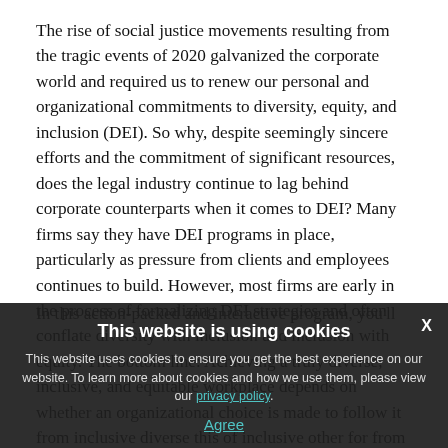The rise of social justice movements resulting from the tragic events of 2020 galvanized the corporate world and required us to renew our personal and organizational commitments to diversity, equity, and inclusion (DEI). So why, despite seemingly sincere efforts and the commitment of significant resources, does the legal industry continue to lag behind corporate counterparts when it comes to DEI? Many firms say they have DEI programs in place, particularly as pressure from clients and employees continues to build. However, most firms are early in the process of formalizing DEI strategies and often conflate diversity with inclusion and inclusion with equity. The bottom line: Achieving a truly diverse, inclusive, and equitable workplace depends on whether an organizational choice is made to follow it from inclusive diverse this of inclusive other for from diverse like applicants
In this action-packed and interactive program, you'll
This website is using cookies
This website uses cookies to ensure you get the best experience on our website. To learn more about cookies and how we use them, please view our privacy policy.
Agree